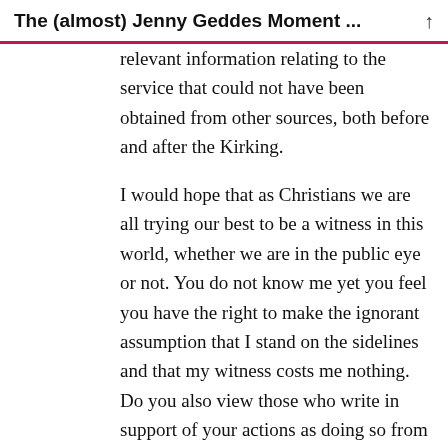The (almost) Jenny Geddes Moment ...
relevant information relating to the service that could not have been obtained from other sources, both before and after the Kirking.
I would hope that as Christians we are all trying our best to be a witness in this world, whether we are in the public eye or not. You do not know me yet you feel you have the right to make the ignorant assumption that I stand on the sidelines and that my witness costs me nothing. Do you also view those who write in support of your actions as doing so from the